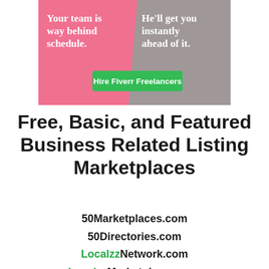[Figure (illustration): Fiverr advertisement banner with pink and grayscale background. Left side (pink): 'Your team is way behind schedule.' Right side (grayscale person photo): 'He'll get you instantly ahead of it.' Green button: 'Hire Fiverr Freelancers']
Free, Basic, and Featured Business Related Listing Marketplaces
50Marketplaces.com
50Directories.com
LocalzzNetwork.com
LocalzzMarketplaces.com